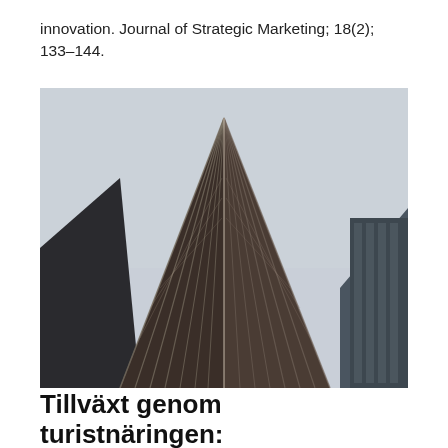innovation. Journal of Strategic Marketing; 18(2); 133–144.
[Figure (photo): Low-angle upward view of a modern skyscraper with geometric diagonal facade of metal and glass panels, against a pale grey sky.]
Tillväxt genom turistnäringen: betänkande